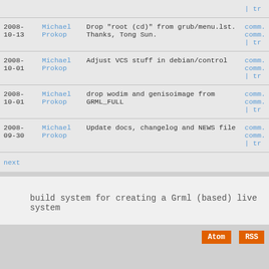| Date | Author | Message | Links |
| --- | --- | --- | --- |
| 2008-
10-13 | Michael
Prokop | Drop "root (cd)" from grub/menu.lst.
Thanks, Tong Sun. | comm.
comm.
| tr |
| 2008-
10-01 | Michael
Prokop | Adjust VCS stuff in debian/control | comm.
comm.
| tr |
| 2008-
10-01 | Michael
Prokop | drop wodim and genisoimage from GRML_FULL | comm.
comm.
| tr |
| 2008-
09-30 | Michael
Prokop | Update docs, changelog and NEWS file | comm.
comm.
| tr |
next
build system for creating a Grml (based) live system
Atom  RSS